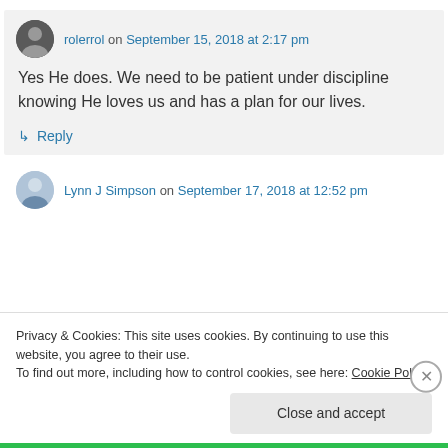rolerrol on September 15, 2018 at 2:17 pm
Yes He does. We need to be patient under discipline knowing He loves us and has a plan for our lives.
↳ Reply
Lynn J Simpson on September 17, 2018 at 12:52 pm
Privacy & Cookies: This site uses cookies. By continuing to use this website, you agree to their use.
To find out more, including how to control cookies, see here: Cookie Policy
Close and accept